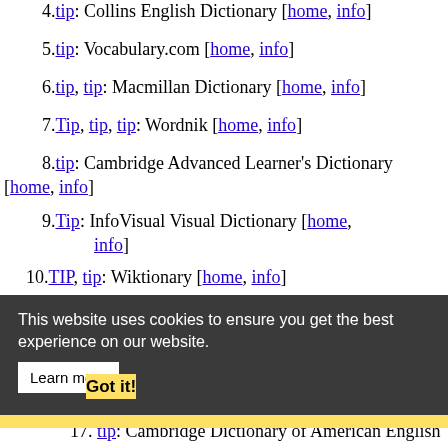4. tip: Collins English Dictionary [home, info]
5. tip: Vocabulary.com [home, info]
6. tip, tip: Macmillan Dictionary [home, info]
7. Tip, tip, tip: Wordnik [home, info]
8. tip: Cambridge Advanced Learner's Dictionary [home, info]
9. Tip: InfoVisual Visual Dictionary [home, info]
10. TIP, tip: Wiktionary [home, info]
11. tip: Webster's New World College Dictionary, 4th Ed. [home, info]
12. tip: The Wordsmyth English Dictionary-Thesaurus [home, info]
13. tip: Infoplease Dictionary [home, info]
14. TIP, Tip: Dictionary.com [home, info]
15. tip (n.), tip (v.1), tip (v.2), tip (v.3): Online Etymology Dictionary [home, info]
16. tip: UltraLingua English Dictionary [home, info]
17. tip: Cambridge Dictionary of American English [home, info]
This website uses cookies to ensure you get the best experience on our website. Learn more Got it!